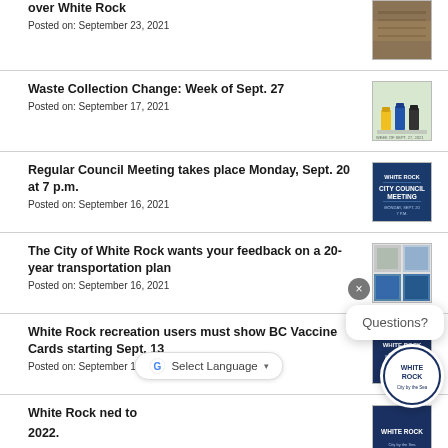over White Rock
Posted on: September 23, 2021
Waste Collection Change: Week of Sept. 27
Posted on: September 17, 2021
Regular Council Meeting takes place Monday, Sept. 20 at 7 p.m.
Posted on: September 16, 2021
The City of White Rock wants your feedback on a 20-year transportation plan
Posted on: September 16, 2021
White Rock recreation users must show BC Vaccine Cards starting Sept. 13
Posted on: September 13, 2021
White Rock [text cut off] ned to 2022.